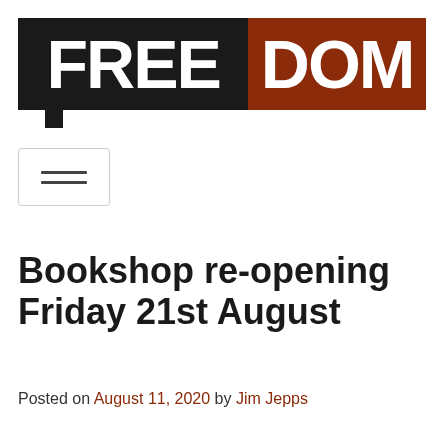[Figure (logo): FREEDOM logo banner: 'FREE' on black background left half, 'DOM' on dark red/brown background right half, white bold text]
[Figure (other): Hamburger menu icon button with two horizontal lines inside a rounded rectangle border]
Bookshop re-opening Friday 21st August
Posted on August 11, 2020 by Jim Jepps